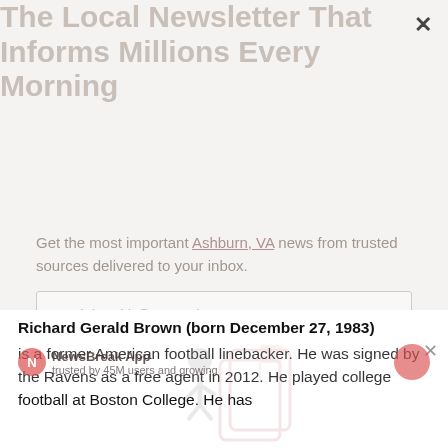The Local Newsletter That Informs Millions Every Morning
Get the most important Ashburn, VA news from trusted sources delivered to your inbox.
[Figure (screenshot): Email input field with placeholder 'e.g. johsmith@example.com']
[Figure (screenshot): Sign up button in pink/rose color]
[Figure (logo): Faded app/messenger icons in center of page]
Richard Gerald Brown (born December 27, 1983) is a former American football linebacker. He was signed by the Ravens as a free agent in 2012. He played college football at Boston College. He has
[Figure (logo): NewsBreak App logo and banner with close button]